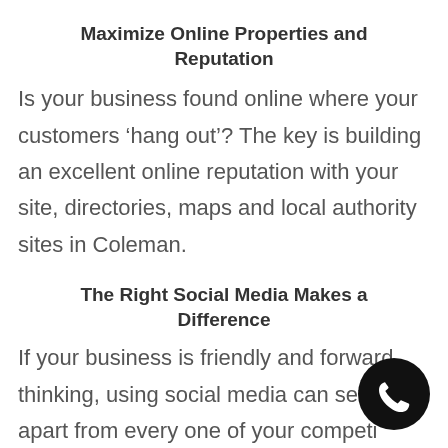Maximize Online Properties and Reputation
Is your business found online where your customers ‘hang out’? The key is building an excellent online reputation with your site, directories, maps and local authority sites in Coleman.
The Right Social Media Makes a Difference
If your business is friendly and forward thinking, using social media can set you apart from every one of your competitors. Share your best ideas with important, social, user friendly posts and photos.